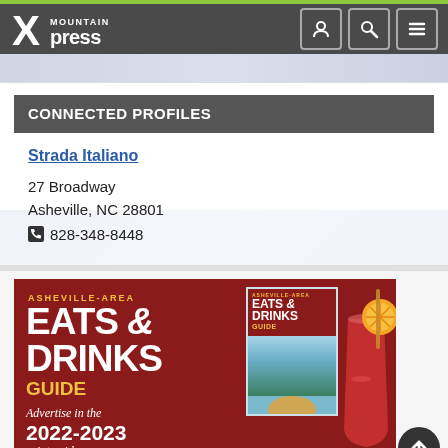Mountain Xpress
CONNECTED PROFILES
Strada Italiano
27 Broadway
Asheville, NC 28801
828-348-8448
[Figure (illustration): Advertisement for Asheville-Area Eats & Drinks Guide showing bold red background with title text, small guide cover thumbnail, and a drink with orange garnish. Text includes: ASHEVILLE-AREA, EATS & DRINKS, GUIDE, Advertise in the 2022-2023 print guide]